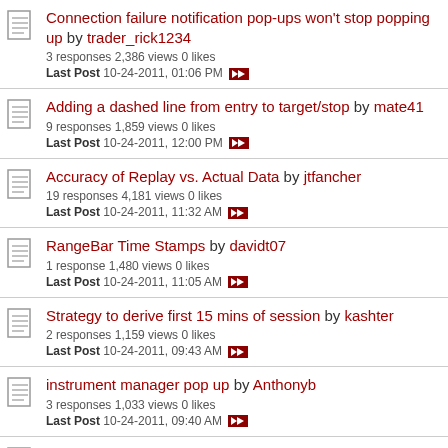Connection failure notification pop-ups won't stop popping up by trader_rick1234 | 3 responses 2,386 views 0 likes | Last Post 10-24-2011, 01:06 PM
Adding a dashed line from entry to target/stop by mate41 | 9 responses 1,859 views 0 likes | Last Post 10-24-2011, 12:00 PM
Accuracy of Replay vs. Actual Data by jtfancher | 19 responses 4,181 views 0 likes | Last Post 10-24-2011, 11:32 AM
RangeBar Time Stamps by davidt07 | 1 response 1,480 views 0 likes | Last Post 10-24-2011, 11:05 AM
Strategy to derive first 15 mins of session by kashter | 2 responses 1,159 views 0 likes | Last Post 10-24-2011, 09:43 AM
instrument manager pop up by Anthonyb | 3 responses 1,033 views 0 likes | Last Post 10-24-2011, 09:40 AM
Backtesting no periodical bar typos vs Market Replay